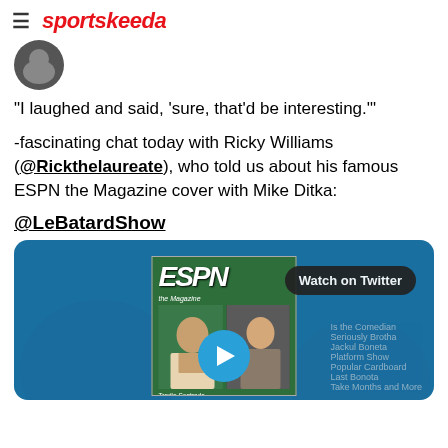sportskeeda
[Figure (other): User avatar/profile picture circle placeholder]
"I laughed and said, 'sure, that'd be interesting.'"
-fascinating chat today with Ricky Williams (@Rickthelaureate), who told us about his famous ESPN the Magazine cover with Mike Ditka:
@LeBatardShow
[Figure (screenshot): Twitter embedded video showing ESPN the Magazine cover with two people, Ricky Williams and Mike Ditka, with a blue play button overlay and 'Watch on Twitter' button]